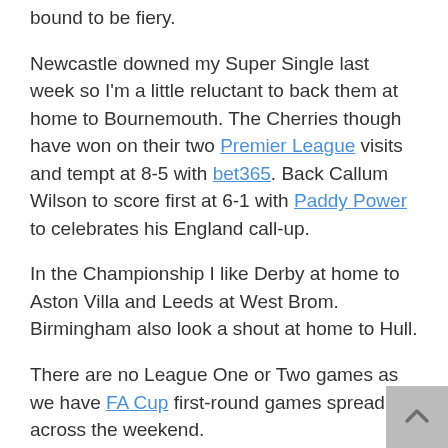bound to be fiery.
Newcastle downed my Super Single last week so I'm a little reluctant to back them at home to Bournemouth. The Cherries though have won on their two Premier League visits and tempt at 8-5 with bet365. Back Callum Wilson to score first at 6-1 with Paddy Power to celebrates his England call-up.
In the Championship I like Derby at home to Aston Villa and Leeds at West Brom. Birmingham also look a shout at home to Hull.
There are no League One or Two games as we have FA Cup first-round games spread across the weekend.
Most of the league sides will take care of non-league rivals but there will be a couple of shocks and I'll add some thoughts later.